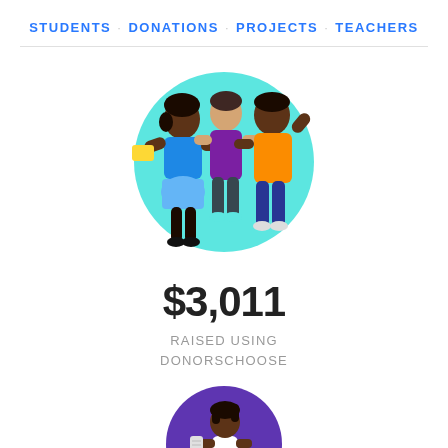STUDENTS · DONATIONS · PROJECTS · TEACHERS
[Figure (illustration): Three illustrated figures standing together in front of a teal circle: a woman in blue holding a yellow book, a person in purple, and a man in orange with arm raised]
$3,011
RAISED USING DONORSCHOOSE
[Figure (illustration): Circular illustration of a child with braids sitting at a table with school supplies, papers, and a blue open box on a yellow and purple background]